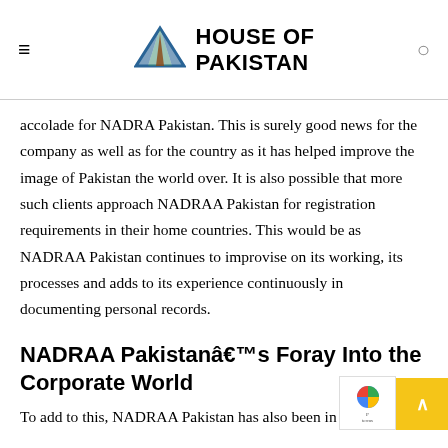HOUSE OF PAKISTAN
accolade for NADRA Pakistan. This is surely good news for the company as well as for the country as it has helped improve the image of Pakistan the world over. It is also possible that more such clients approach NADRAA Pakistan for registration requirements in their home countries. This would be as NADRAA Pakistan continues to improvise on its working, its processes and adds to its experience continuously in documenting personal records.
NADRAA Pakistana€™s Foray Into the Corporate World
To add to this, NADRAA Pakistan has also been in